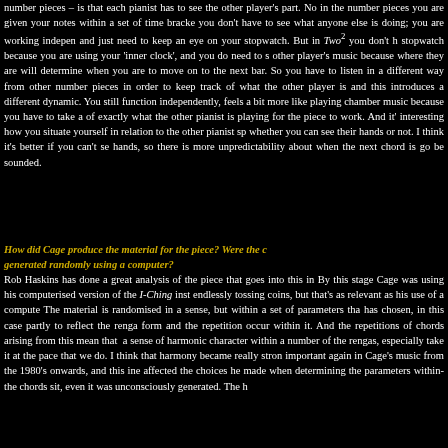number pieces – is that each pianist has to see the other player's part. Now in the number pieces you are given your notes within a set of time brackets; you don't have to see what anyone else is doing; you are working independently and just need to keep an eye on your stopwatch. But in Two² you don't have a stopwatch because you are using your 'inner clock', and you do need to see the other player's music because where they are will determine when you are ready to move on to the next bar. So you have to listen in a different way from the other number pieces in order to keep track of what the other player is doing, and this introduces a different dynamic. You still function independently, but it feels a bit more like playing chamber music because you have to take account of exactly what the other pianist is playing for the piece to work. And it's also interesting how you situate yourself in relation to the other pianist spatially, whether you can see their hands or not. I think it's better if you can't see their hands, so there is more unpredictability about when the next chord is going to be sounded.
How did Cage produce the material for the piece? Were the chords generated randomly using a computer?
Rob Haskins has done a great analysis of the piece that goes into this in detail. By this stage Cage was using his computerised version of the I-Ching instead of endlessly tossing coins, but that's as relevant as his use of a computer to type. The material is randomised in a sense, but within a set of parameters that Cage has chosen, in this case partly to reflect the renga form and the repetitions that occur within it. And the repetitions of chords arising from this mean that you get a sense of harmonic character within a number of the rengas, especially when you take it at the pace that we do. I think that harmony became really strong and important again in Cage's music from the 1980's onwards, and this inevitably affected the choices he made when determining the parameters within which the chords sit, even it was unconsciously generated. The harmony